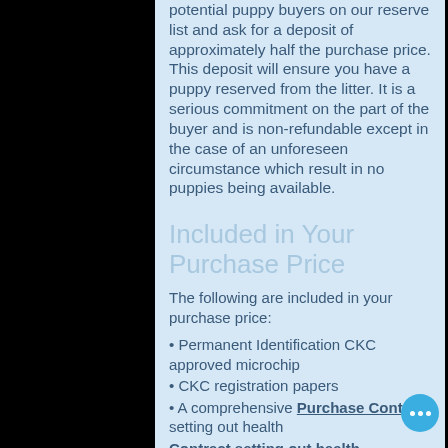potential puppy buyers on our reserve list and ask for a deposit of approximately half the purchase price.
This deposit will ensure you have a puppy reserved from the litter. It is a serious commitment on the part of the buyer and is non-refundable except in the case of an unforeseen circumstance which result in no puppies being available.
Included in Your Purchase Price
The following are included in your purchase price:
• Permanent Identification CKC approved microchip
• CKC registration papers
• A comprehensive Purchase Contract setting out health